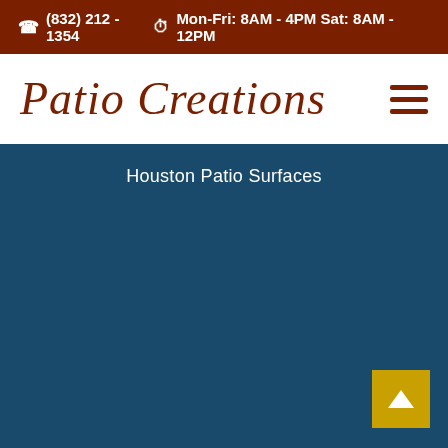☎ (832) 212 - 1354   🕐 Mon-Fri: 8AM - 4PM Sat: 8AM - 12PM
Patio Creations
Houston Patio Surfaces